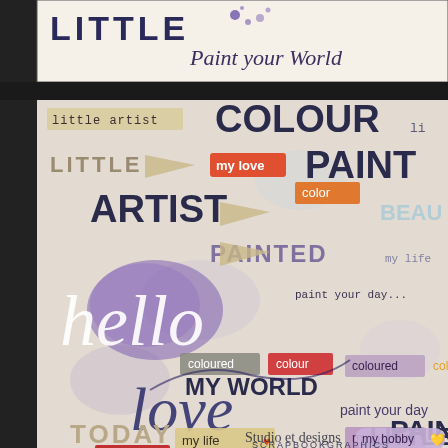[Figure (illustration): Top portion: scrapbook digital kit banner showing 'LITTLE' text with paint splatter and 'Paint your World' script on cream/white background with purple ink splashes. Bottom portion: large scrapbooking word art collage on a distressed pastel background featuring words: 'little artist', 'COLOUR', 'LITTLE', 'my love', 'PAINT', 'color', 'ARTIST', 'BEAUT...', 'PAINTED', 'my life', 'hello' (large script in purple watercolor), 'paint your day', 'coloured', 'colour', 'col...', 'love' (large cursive script in navy), 'paint your day', 'my hobby', 'my life' (with heart), 'MY WORLD', 'PAINT', 'my love', 'paint your world' (with heart), 'LITTLE', 'TODAY', 'my hobby' (with heart), 'Studio et designs', 'SCRAPBOOKGRAPHICS'. Left side is dark gray/black border. Studio et designs / SCRAPBOOKGRAPHICS watermark at bottom right.]